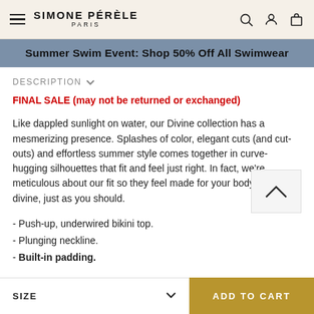SIMONE PÉRÈLE PARIS
Summer Swim Event: Shop 50% Off All Swimwear
DESCRIPTION
FINAL SALE (may not be returned or exchanged)
Like dappled sunlight on water, our Divine collection has a mesmerizing presence. Splashes of color, elegant cuts (and cut-outs) and effortless summer style comes together in curve-hugging silhouettes that fit and feel just right. In fact, we're meticulous about our fit so they feel made for your body. You'll feel divine, just as you should.
- Push-up, underwired bikini top.
- Plunging neckline.
- Built-in padding.
SIZE
ADD TO CART